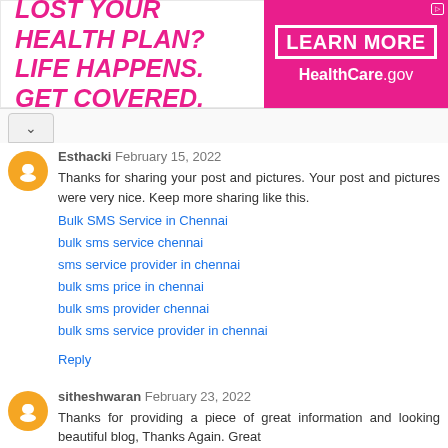[Figure (infographic): Healthcare.gov advertisement banner: pink/magenta background on right side with 'LEARN MORE' in white box and 'HealthCare.gov' text; white left side with pink bold italic text 'LOST YOUR HEALTH PLAN? LIFE HAPPENS. GET COVERED.']
Esthacki February 15, 2022
Thanks for sharing your post and pictures. Your post and pictures were very nice. Keep more sharing like this.
Bulk SMS Service in Chennai
bulk sms service chennai
sms service provider in chennai
bulk sms price in chennai
bulk sms provider chennai
bulk sms service provider in chennai
Reply
sitheshwaran February 23, 2022
Thanks for providing a piece of great information and looking beautiful blog, Thanks Again. Great